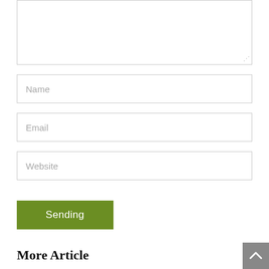[Figure (screenshot): Textarea input field (partially visible at top, with resize handle)]
Name
Email
Website
Sending
More Article
Zero Sum Game Politics Boost